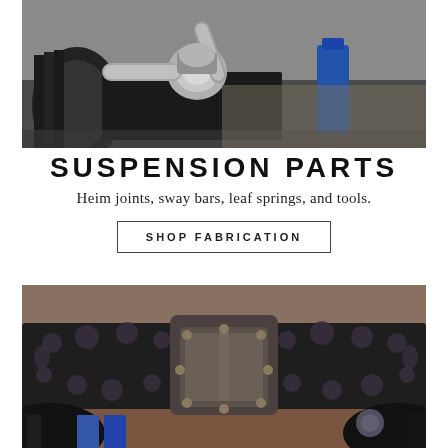[Figure (photo): Close-up photo of a chrome/silver off-road vehicle suspension component (CV axle or driveshaft joint) mounted on a black metal plate, with a tire visible on the left and a blue hydraulic jack visible, on a dirt/concrete surface.]
SUSPENSION PARTS
Heim joints, sway bars, leaf springs, and tools.
SHOP FABRICATION
[Figure (photo): Under-vehicle photo showing a black off-road axle housing with a metal differential cover in the center, surrounded by a perforated/slotted skid plate frame. Large off-road tires are visible on both sides. The image is taken from below looking up.]